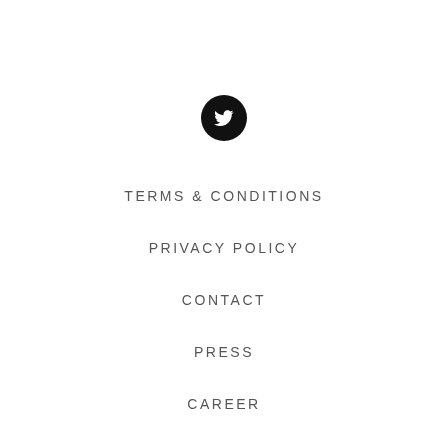[Figure (logo): Black circular Twitter bird icon]
TERMS & CONDITIONS
PRIVACY POLICY
CONTACT
PRESS
CAREER
SUBSCRIBE
FAQ